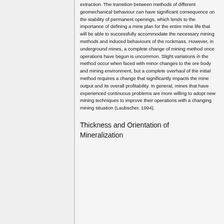extraction. The transition between methods of different geomechanical behaviour can have significant consequence on the stability of permanent openings, which lends to the importance of defining a mine plan for the entire mine life that will be able to successfully accommodate the necessary mining methods and induced behaviours of the rockmass. However, in underground mines, a complete change of mining method once operations have begun is uncommon. Slight variations in the method occur when faced with minor changes to the ore body and mining environment, but a complete overhaul of the initial method requires a change that significantly impacts the mine output and its overall profitability. In general, mines that have experienced continuous problems are more willing to adopt new mining techniques to improve their operations with a changing mining situation (Laubscher, 1994).
Thickness and Orientation of Mineralization